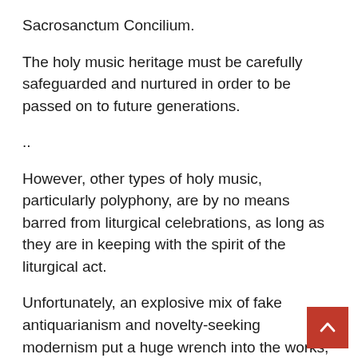Sacrosanctum Concilium.
The holy music heritage must be carefully safeguarded and nurtured in order to be passed on to future generations.
..
However, other types of holy music, particularly polyphony, are by no means barred from liturgical celebrations, as long as they are in keeping with the spirit of the liturgical act.
Unfortunately, an explosive mix of fake antiquarianism and novelty-seeking modernism put a huge wrench into the works, resulting in a battle zone of clashing